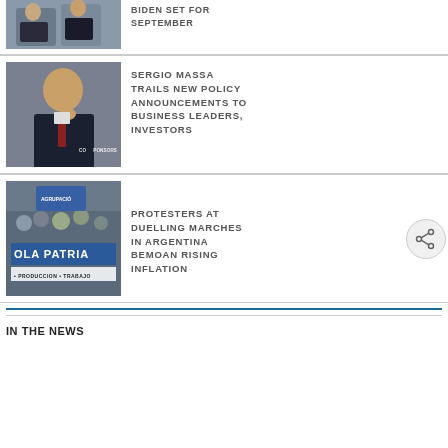[Figure (photo): Two men at a podium or press conference - partially cropped at top]
BIDEN SET FOR SEPTEMBER
[Figure (photo): Sergio Massa, a man in a suit with hand near chin, in front of a SPONSORS banner]
SERGIO MASSA TRAILS NEW POLICY ANNOUNCEMENTS TO BUSINESS LEADERS, INVESTORS
[Figure (photo): Protesters at a march in Argentina holding a banner reading OLA PATRIA and PRODUCCION TRABAJO]
PROTESTERS AT DUELLING MARCHES IN ARGENTINA BEMOAN RISING INFLATION
IN THE NEWS